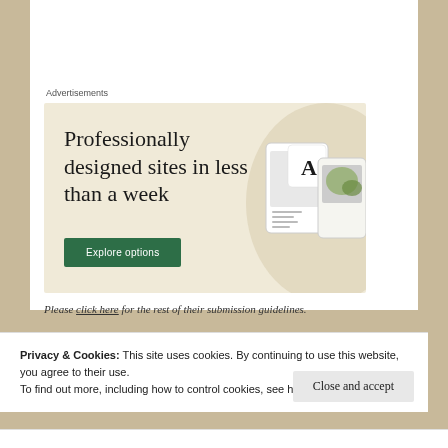Advertisements
[Figure (illustration): Advertisement banner with beige background showing 'Professionally designed sites in less than a week' with a green 'Explore options' button and website mockup images on the right]
Please click here for the rest of their submission guidelines.
Privacy & Cookies: This site uses cookies. By continuing to use this website, you agree to their use.
To find out more, including how to control cookies, see here: Cookie Policy
Close and accept